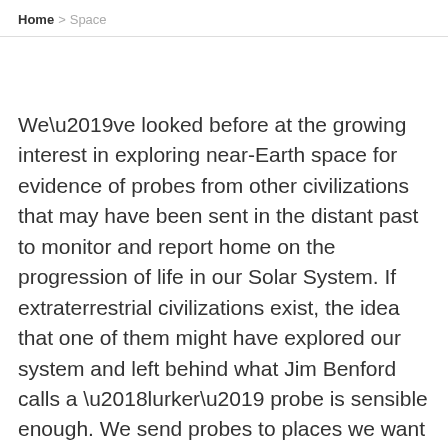Home > Space
We’ve looked before at the growing interest in exploring near-Earth space for evidence of probes from other civilizations that may have been sent in the distant past to monitor and report home on the progression of life in our Solar System. If extraterrestrial civilizations exist, the idea that one of them might have explored our system and left behind what Jim Benford calls a ‘lurker’ probe is sensible enough. We send probes to places we want to learn more about, and we would certainly have probes around the nearest stars if we had the means. Breakthrough Starshot is an example of such interest.